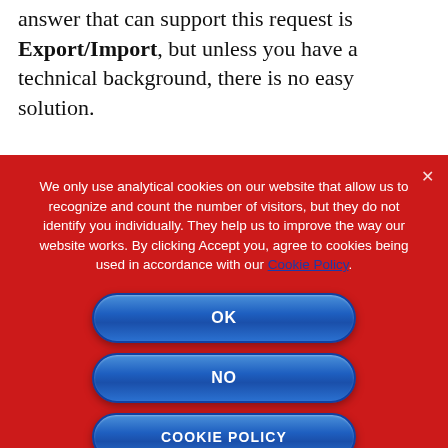WooCommerce installation. The only answer that can support this request is Export/Import, but unless you have a technical background, there is no easy solution.
We only use analytical cookies on our website that allow us to recognize and count the number of visitors, but they do not identify you individually. They help us to improve the way our website works. By clicking Accept you, agree to cookies being used in accordance with our Cookie Policy.
[Figure (other): Cookie consent dialog with OK, NO, and COOKIE POLICY buttons on a red background]